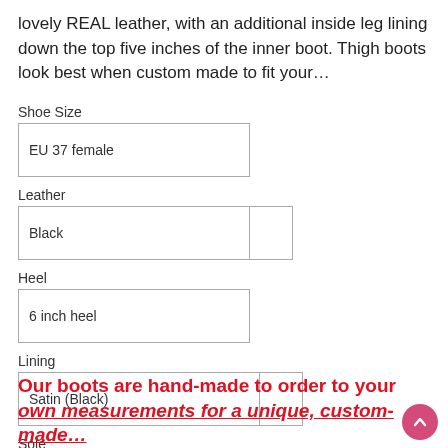lovely REAL leather, with an additional inside leg lining down the top five inches of the inner boot. Thigh boots look best when custom made to fit your…
Shoe Size: EU 37 female
Leather: Black
Heel: 6 inch heel
Lining: Satin (Black)
Sole: Cream
Our boots are hand-made to order to your…